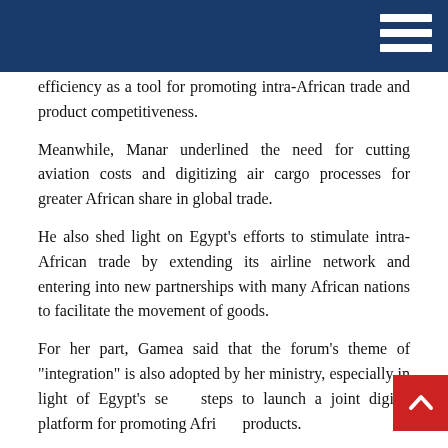efficiency as a tool for promoting intra-African trade and product competitiveness.
Meanwhile, Manar underlined the need for cutting aviation costs and digitizing air cargo processes for greater African share in global trade.
He also shed light on Egypt's efforts to stimulate intra-African trade by extending its airline network and entering into new partnerships with many African nations to facilitate the movement of goods.
For her part, Gamea said that the forum's theme of "integration" is also adopted by her ministry, especially in light of Egypt's se... steps to launch a joint digital platform for promoting Afr... products.
Moreover, the Egyptian government had also cut fees on Africa-bound freight charges by 80 per cent as part of its keen efforts to boost exports to African markets, Gamea added.
Fourth Session
Participants in the fourth session of the 1st forum of the heads of